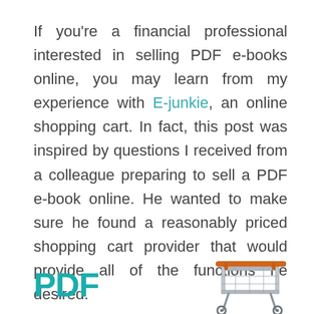If you're a financial professional interested in selling PDF e-books online, you may learn from my experience with E-junkie, an online shopping cart. In fact, this post was inspired by questions I received from a colleague preparing to sell a PDF e-book online. He wanted to make sure he found a reasonably priced shopping cart provider that would provide all of the functions he desired.
PDF
[Figure (illustration): A shopping cart illustration showing a metallic grocery cart viewed from a slight angle, with orange/gold colored handle.]